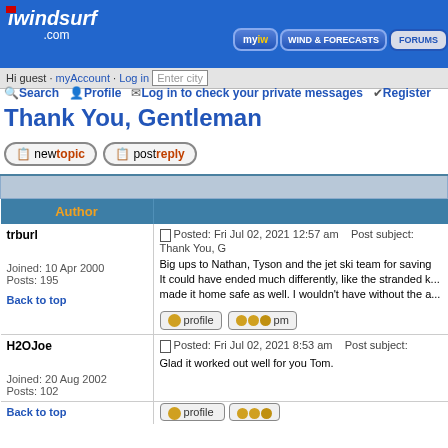iwindsurf.com
Hi guest · myAccount · Log in  Enter city
Search  Profile  Log in to check your private messages  Register
Thank You, Gentleman
new topic   post reply   iWindsurf Community Forum Index -> Northwest U
| Author |  |
| --- | --- |
| trburl

Joined: 10 Apr 2000
Posts: 195

Back to top | Posted: Fri Jul 02, 2021 12:57 am    Post subject: Thank You, G

Big ups to Nathan, Tyson and the jet ski team for saving...
It could have ended much differently, like the stranded k...
made it home safe as well. I wouldn't have without the a... |
| H2OJoe

Joined: 20 Aug 2002
Posts: 102 | Posted: Fri Jul 02, 2021 8:53 am    Post subject:

Glad it worked out well for you Tom. |